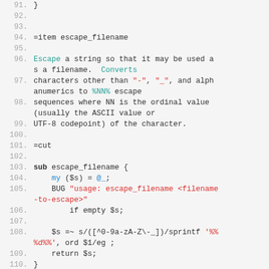Source code listing lines 91-110, showing escape_filename subroutine in Perl with POD documentation comments.